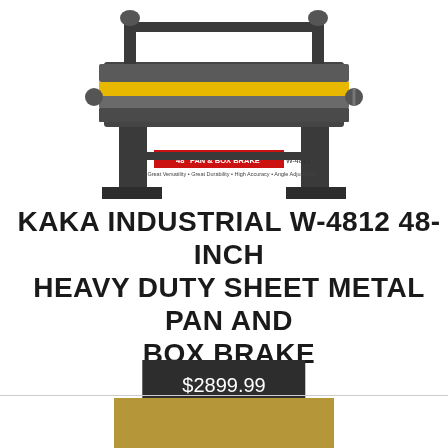[Figure (photo): KAKA Industrial W-4812 48-inch pan and box brake machine on stand, dark gray/black color, with yellow accent bar and red label reading '48" PAN & BOX BRAKE W-4812'. Subtitle text: Great Versatility, Great Durability, High Accuracy, Angle Adjustable.]
KAKA INDUSTRIAL W-4812 48-INCH HEAVY DUTY SHEET METAL PAN AND BOX BRAKE
$2899.99